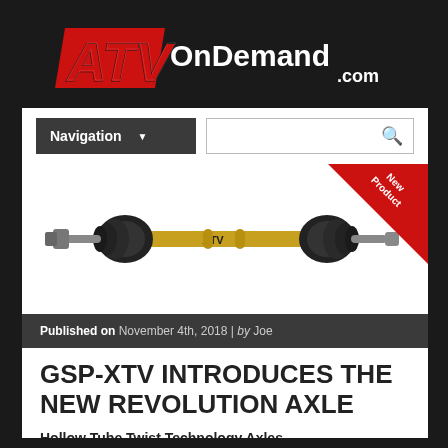[Figure (logo): ATV On Demand .com logo — black background with stylized red ATV letters and white On Demand .com text]
[Figure (other): Navigation bar with dark dropdown labeled Navigation and a search box with magnifying glass icon]
[Figure (photo): Photo of a gold/yellow ATV axle shaft with black CV joint boots on each end, with a red New Product corner badge in the top right]
Published on November 4th, 2018 | by Joe
GSP-XTV INTRODUCES THE NEW REVOLUTION AXLE
Hollow Tube Twist Technology Axles